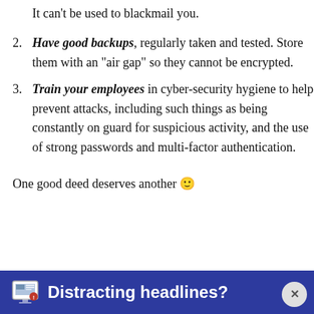It can't be used to blackmail you.
Have good backups, regularly taken and tested. Store them with an “air gap” so they cannot be encrypted.
Train your employees in cyber-security hygiene to help prevent attacks, including such things as being constantly on guard for suspicious activity, and the use of strong passwords and multi-factor authentication.
One good deed deserves another 🙂
[Figure (screenshot): Browser ad banner at the bottom: dark blue background with a newspaper/TV icon and bold white text 'Distracting headlines?' and a close button (x) on the right.]